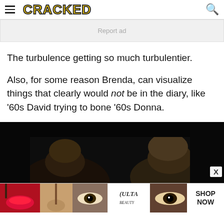CRACKED
Report ad
The turbulence getting so much turbulentier.
Also, for some reason Brenda, can visualize things that clearly would not be in the diary, like '60s David trying to bone '60s Donna.
[Figure (photo): Dark photograph showing people, appears to be a scene from a TV show or movie]
[Figure (photo): Bottom banner advertisement for ULTA Beauty showing close-up makeup shots with SHOP NOW text]